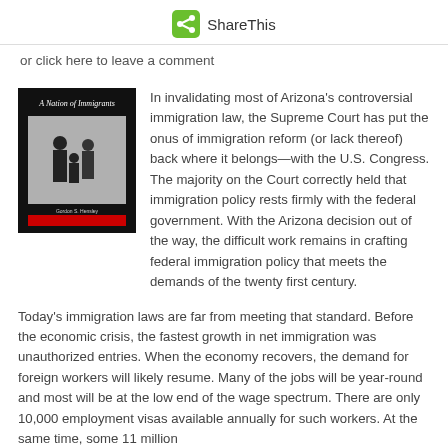[Figure (logo): ShareThis green share icon button with text 'ShareThis']
or click here to leave a comment
[Figure (photo): Book cover: 'A Nation of Immigrants' with black and white photo of family silhouette]
In invalidating most of Arizona's controversial immigration law, the Supreme Court has put the onus of immigration reform (or lack thereof) back where it belongs—with the U.S. Congress. The majority on the Court correctly held that immigration policy rests firmly with the federal government. With the Arizona decision out of the way, the difficult work remains in crafting federal immigration policy that meets the demands of the twenty first century.
Today's immigration laws are far from meeting that standard. Before the economic crisis, the fastest growth in net immigration was unauthorized entries. When the economy recovers, the demand for foreign workers will likely resume. Many of the jobs will be year-round and most will be at the low end of the wage spectrum. There are only 10,000 employment visas available annually for such workers. At the same time, some 11 million